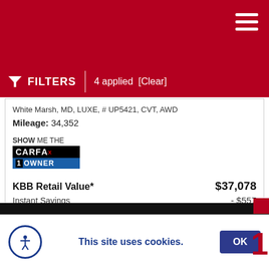FILTERS  4 applied  [Clear]
White Marsh, MD, LUXE, # UP5421, CVT, AWD
Mileage: 34,352
[Figure (logo): SHOW ME THE CARFAX 1 OWNER badge logo]
KBB Retail Value*  $37,078
Instant Savings  - $557
Your Car Has NEVER Been Worth More!
Sell or Trade Your Car Today.
This site uses cookies.  OK